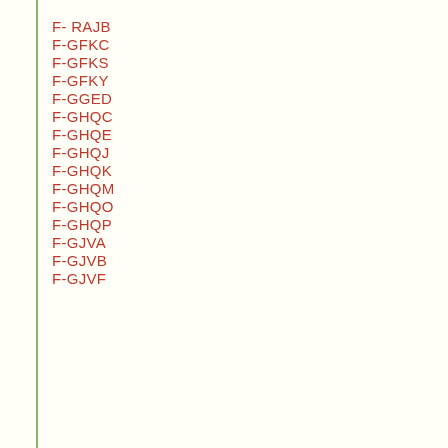F- RAJB
F-GFKC
F-GFKS
F-GFKY
F-GGED
F-GHQC
F-GHQE
F-GHQJ
F-GHQK
F-GHQM
F-GHQO
F-GHQP
F-GJVA
F-GJVB
F-GJVF